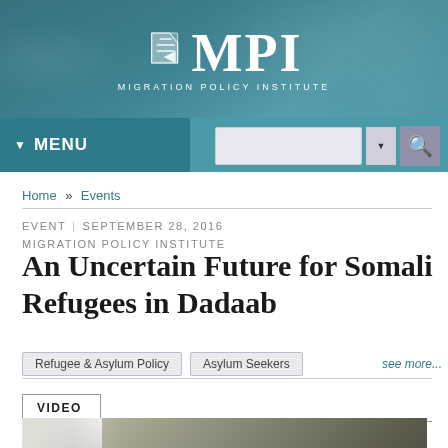[Figure (logo): MPI Migration Policy Institute logo on teal world map background with white MPI text and arrow icon]
MENU | [search bar] | [search button]
Home » Events
EVENT | SEPTEMBER 28, 2016
MIGRATION POLICY INSTITUTE
An Uncertain Future for Somali Refugees in Dadaab
Refugee & Asylum Policy
Asylum Seekers
see more...
VIDEO
[Figure (screenshot): Partially visible video thumbnail showing blurred dark/gray imagery]